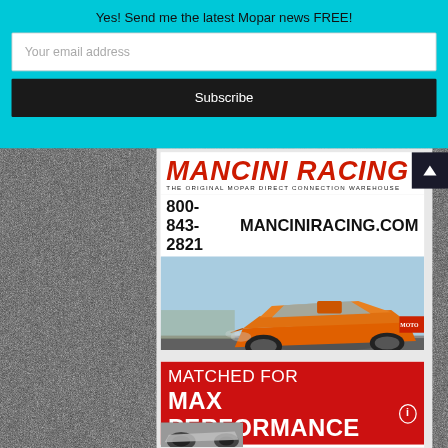Yes! Send me the latest Mopar news FREE!
Your email address
Subscribe
[Figure (photo): Mancini Racing advertisement featuring an orange Dodge Challenger drag racing car on a track. Header shows Mancini Racing logo and THE ORIGINAL MOPAR DIRECT CONNECTION WAREHOUSE tagline, phone 800-843-2821 and MANCINIRACING.COM, footer shows SINCE 1972 INFO@MANCINIRACING.COM]
[Figure (photo): HRT advertisement: MATCHED FOR MAX PERFORMANCE with circled i, HRT Cam Packages For Gen III Dodge HEMI, Adds 120-170 HP in]